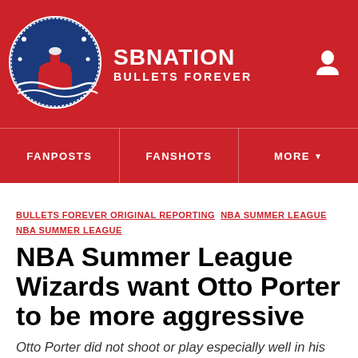SB NATION / BULLETS FOREVER
FANPOSTS | FANSHOTS | MORE
BULLETS FOREVER ORIGINAL REPORTING  NBA SUMMER LEAGUE  NBA SUMMER LEAGUE
NBA Summer League Wizards want Otto Porter to be more aggressive
Otto Porter did not shoot or play especially well in his Summer League debut, and afterwards, coach Sam Cassell said that he wants to see Porter play more aggressively.
By Mike Prada | Jul 13, 2013, 9:07pm EDT